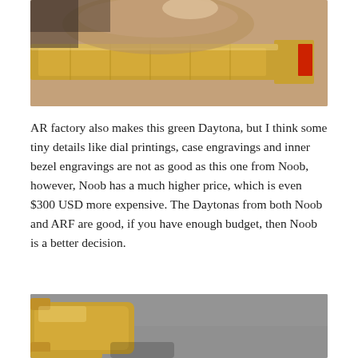[Figure (photo): Close-up photo of a hand holding a gold watch bracelet with a red folding clasp detail visible on the right side.]
AR factory also makes this green Daytona, but I think some tiny details like dial printings, case engravings and inner bezel engravings are not as good as this one from Noob, however, Noob has a much higher price, which is even $300 USD more expensive. The Daytonas from both Noob and ARF are good, if you have enough budget, then Noob is a better decision.
[Figure (photo): Close-up photo of a gold watch case on a grey surface, showing part of the watch case and bracelet.]